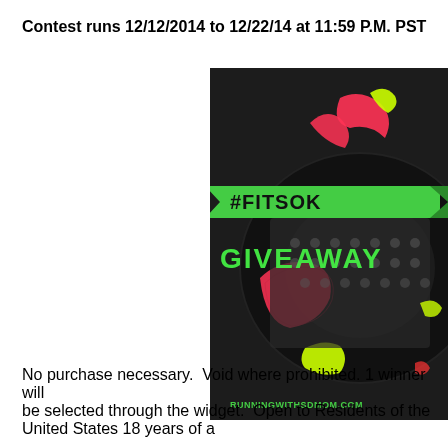Contest runs 12/12/2014 to 12/22/14 at 11:59 P.M. PST
[Figure (photo): Photo of colorful fitness socks (neon pink and yellow-green) on a dark background with a green ribbon banner reading #FITSOK and large green text GIVEAWAY, with RUNNINGWITHSDMOM.COM watermark at bottom]
No purchase necessary. Void where prohibited. 1 winner will be selected through the widget. Open to Residents of the United States 18 years of age and older.